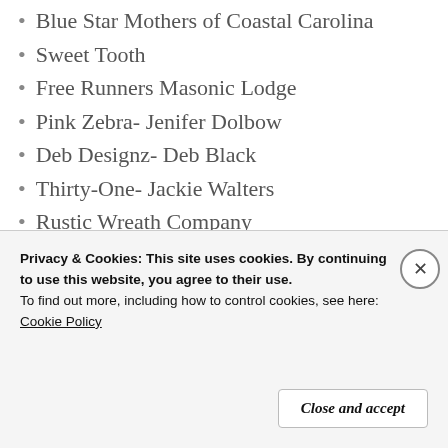Blue Star Mothers of Coastal Carolina
Sweet Tooth
Free Runners Masonic Lodge
Pink Zebra- Jenifer Dolbow
Deb Designz- Deb Black
Thirty-One- Jackie Walters
Rustic Wreath Company
Warrior Watch Riders
Grand Strand Health & Wellness
TD Bank
Horseshoe Arts & Crafts
Vantel Pearls
Privacy & Cookies: This site uses cookies. By continuing to use this website, you agree to their use.
To find out more, including how to control cookies, see here:
Cookie Policy
Close and accept